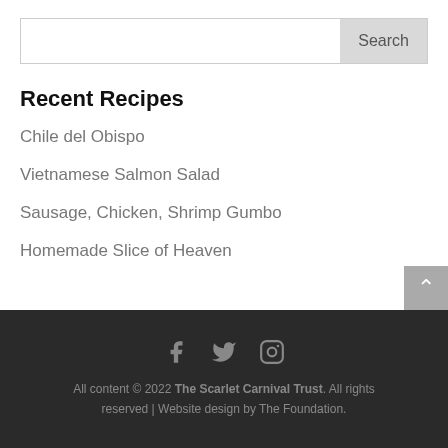[Figure (other): Search box with text input field and Search button]
Recent Recipes
Chile del Obispo
Vietnamese Salmon Salad
Sausage, Chicken, Shrimp Gumbo
Homemade Slice of Heaven
All content © 2022 The Scarlet Carnival Trust. All rights reserved | Website design by The Foundation.